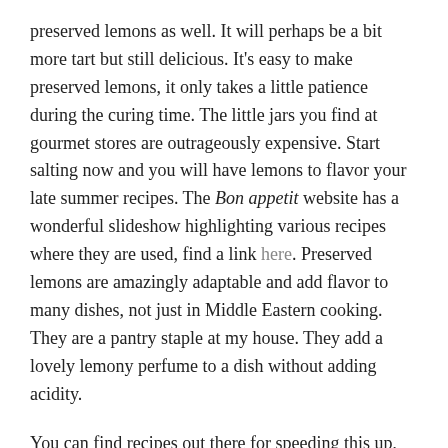preserved lemons as well. It will perhaps be a bit more tart but still delicious. It's easy to make preserved lemons, it only takes a little patience during the curing time. The little jars you find at gourmet stores are outrageously expensive. Start salting now and you will have lemons to flavor your late summer recipes. The Bon appetit website has a wonderful slideshow highlighting various recipes where they are used, find a link here. Preserved lemons are amazingly adaptable and add flavor to many dishes, not just in Middle Eastern cooking. They are a pantry staple at my house. They add a lovely lemony perfume to a dish without adding acidity.
You can find recipes out there for speeding this up, search the web for them if you are interested. This cure takes about 3 months but the results are worth the wait. To use the lemons once they are ready, rinse off the salt and remove the pulp. It's the rind that you use. Some cookbooks also recommend scraping off the white pith on the inside of the rind before you use them. I don't find it absolutely necessary.